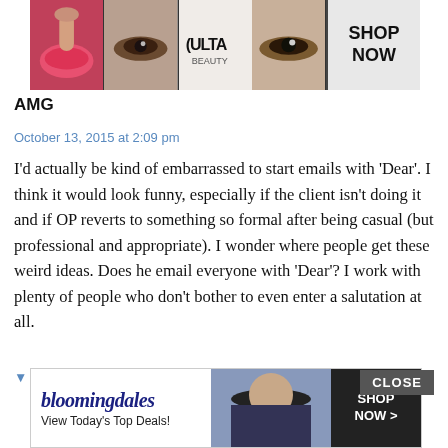[Figure (illustration): ULTA beauty advertisement banner with makeup images and 'SHOP NOW' button]
AMG
October 13, 2015 at 2:09 pm
I'd actually be kind of embarrassed to start emails with 'Dear'. I think it would look funny, especially if the client isn't doing it and if OP reverts to something so formal after being casual (but professional and appropriate). I wonder where people get these weird ideas. Does he email everyone with 'Dear'? I work with plenty of people who don't bother to even enter a salutation at all.
▼ Collapse 56 replies
Long Time Reader First Time Poster
October 13, 2015 at 2:13 pm
I wou ... Dear. And ... d.
[Figure (illustration): Bloomingdale's advertisement banner with 'View Today's Top Deals!' and 'SHOP NOW >' button, with model in hat; CLOSE button overlay]